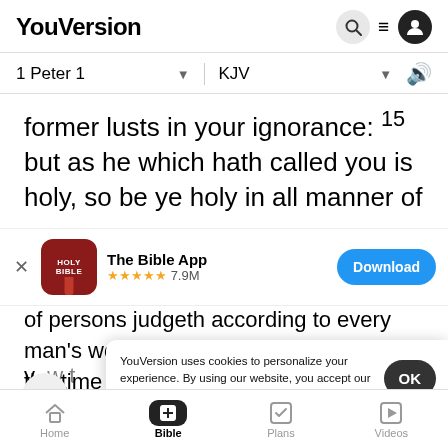YouVersion
1 Peter 1  KJV
former lusts in your ignorance: 15 but as he which hath called you is holy, so be ye holy in all manner of
[Figure (screenshot): The Bible App banner with icon, star rating 7.9M, and Download button]
of persons judgeth according to every man's work, pass the time of your sojourning here with fear: things, as silver and gold, from your vain conversation
YouVersion uses cookies to personalize your experience. By using our website, you accept our use of cookies as described in our Privacy Policy.
Home  Bible  Plans  Videos